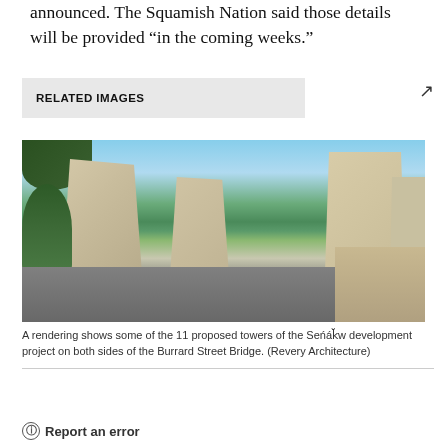announced. The Squamish Nation said those details will be provided “in the coming weeks.”
RELATED IMAGES
[Figure (photo): A rendering showing some of the 11 proposed towers of the Seńák̆w development project on both sides of the Burrard Street Bridge, with modern angular high-rise towers on both sides of a multi-lane road, flanked by trees.]
A rendering shows some of the 11 proposed towers of the Seńák̆w development project on both sides of the Burrard Street Bridge. (Revery Architecture)
Report an error